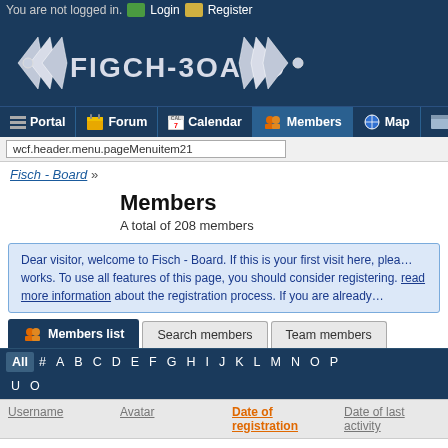You are not logged in.  Login  Register
[Figure (logo): Fisch-Board forum logo with stylized arrow/fish design on dark blue background]
Portal | Forum | Calendar | Members | Map | G
wcf.header.menu.pageMenuitem21
Fisch - Board »
Members
A total of 208 members
Dear visitor, welcome to Fisch - Board. If this is your first visit here, plea... works. To use all features of this page, you should consider registering. read more information about the registration process. If you are already...
Members list  Search members  Team members
All # A B C D E F G H I J K L M N O P  U O